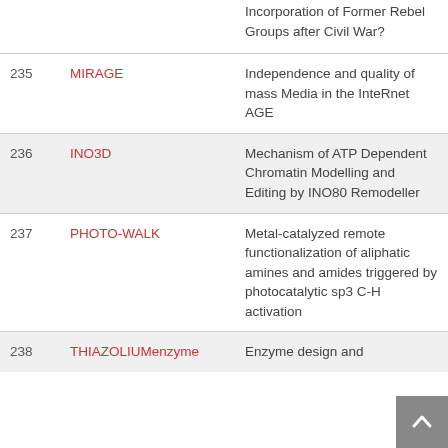| # | Acronym | Title |
| --- | --- | --- |
|  |  | Incorporation of Former Rebel Groups after Civil War? |
| 235 | MIRAGE | Independence and quality of mass Media in the InteRnet AGE |
| 236 | INO3D | Mechanism of ATP Dependent Chromatin Modelling and Editing by INO80 Remodeller |
| 237 | PHOTO-WALK | Metal-catalyzed remote functionalization of aliphatic amines and amides triggered by photocatalytic sp3 C-H activation |
| 238 | THIAZOLIUMenzyme | Enzyme design and |